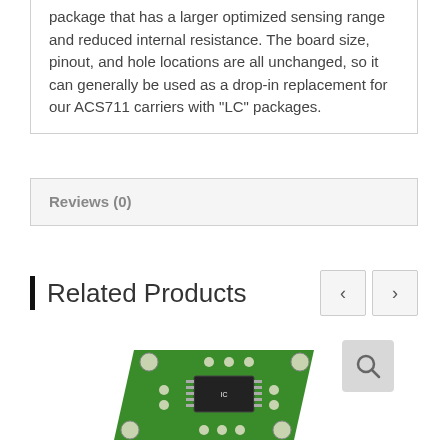package that has a larger optimized sensing range and reduced internal resistance. The board size, pinout, and hole locations are all unchanged, so it can generally be used as a drop-in replacement for our ACS711 carriers with “LC” packages.
Reviews (0)
Related Products
[Figure (photo): Green electronic circuit board PCB module with a chip and mounting holes, shown at an angle. A magnifying glass search icon button is visible in the upper right corner of the product image.]